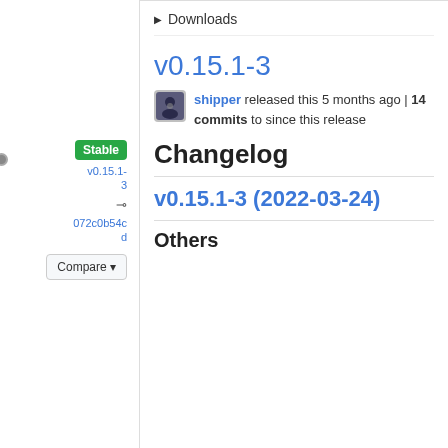▶ Downloads
v0.15.1-3
shipper released this 5 months ago | 14 commits to since this release
Changelog
v0.15.1-3 (2022-03-24)
Others